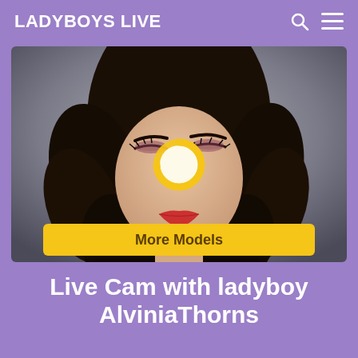LADYBOYS LIVE
[Figure (screenshot): Hero image of a woman with dark curly hair, dramatic makeup, looking upward. A circular loading/play icon in gold is overlaid on the center. A yellow 'More Models' button appears at the bottom of the image.]
Live Cam with ladyboy AlviniaThorns